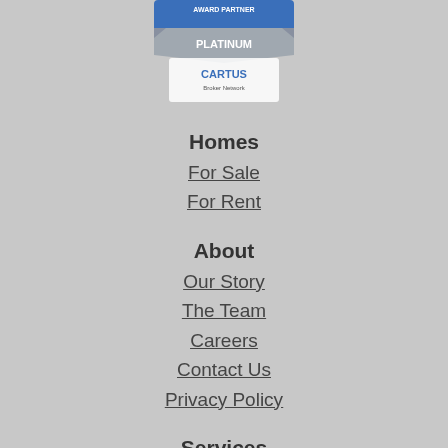[Figure (logo): Cartus Platinum Award Partner badge/logo with blue banner and silver ribbon at top of page]
Homes
For Sale
For Rent
About
Our Story
The Team
Careers
Contact Us
Privacy Policy
Services
Client Services
Buyers